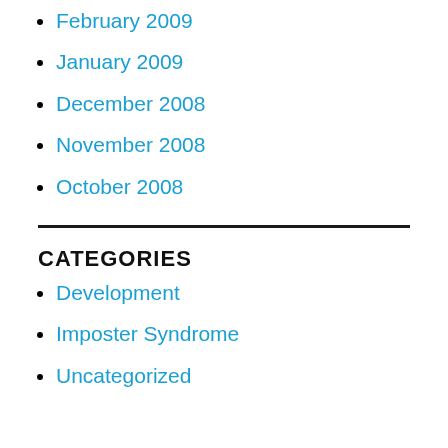February 2009
January 2009
December 2008
November 2008
October 2008
CATEGORIES
Development
Imposter Syndrome
Uncategorized
META